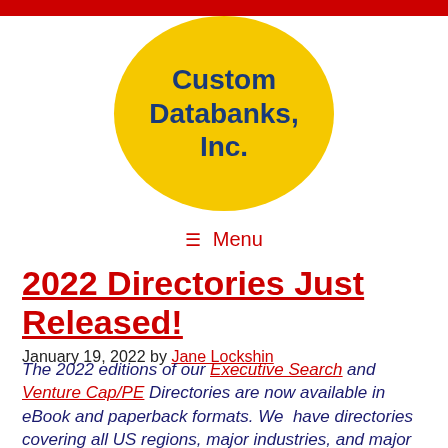[Figure (logo): Custom Databanks, Inc. logo: text on a yellow circle]
≡ Menu
2022 Directories Just Released!
January 19, 2022 by Jane Lockshin
The 2022 editions of our Executive Search and Venture Cap/PE Directories are now available in eBook and paperback formats. We have directories covering all US regions, major industries, and major position categories.